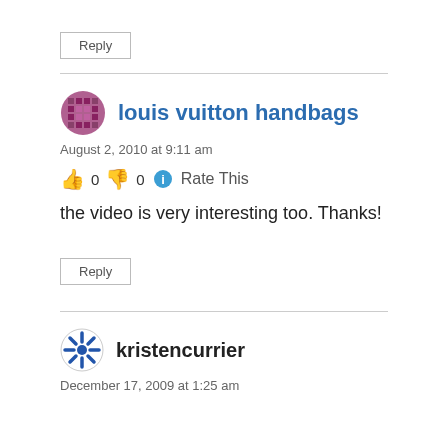Reply
louis vuitton handbags
August 2, 2010 at 9:11 am
0  0  Rate This
the video is very interesting too. Thanks!
Reply
kristencurrier
December 17, 2009 at 1:25 am